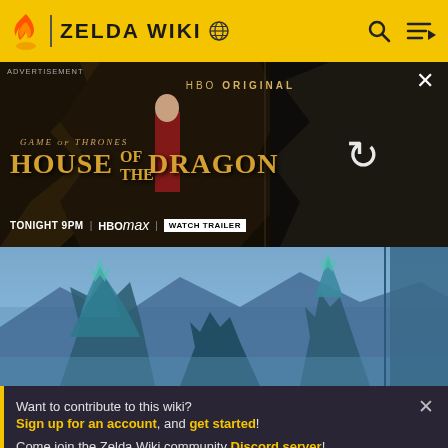ZELDA WIKI
[Figure (screenshot): Advertisement banner for HBO Max's House of the Dragon - Game of Thrones prequel. Text: 'ADVERTISEMENT', 'HBO ORIGINAL', 'GAME OF THRONES', 'HOUSE OF THE DRAGON', 'TONIGHT 9PM | HBO max | WATCH TRAILER'. Has a loading/refresh spinner on the right side.]
[Figure (screenshot): Game scene from Legend of Zelda showing blue/teal crystalline tree-like structures against a misty blue sky background.]
Want to contribute to this wiki? Sign up for an account, and get started! Come join the Zelda Wiki community Discord server!